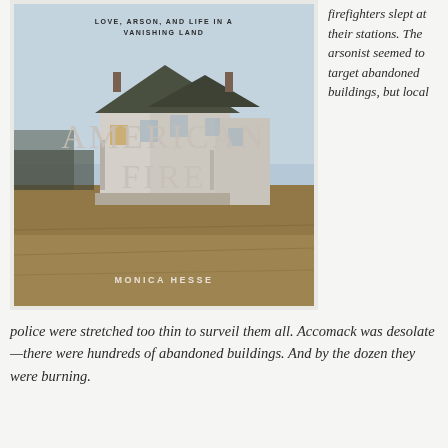[Figure (photo): Book cover of 'American Fire: Love, Arson, and Life in a Vanishing Land' by Monica Hesse, showing a dilapidated white farmhouse in a dry field with a cold sky backdrop. The title 'AMERICAN FIRE' appears in large pale letters over the image.]
firefighters slept at their stations. The arsonist seemed to target abandoned buildings, but local police were stretched too thin to surveil them all. Accomack was desolate—there were hundreds of abandoned buildings. And by the dozen they were burning.